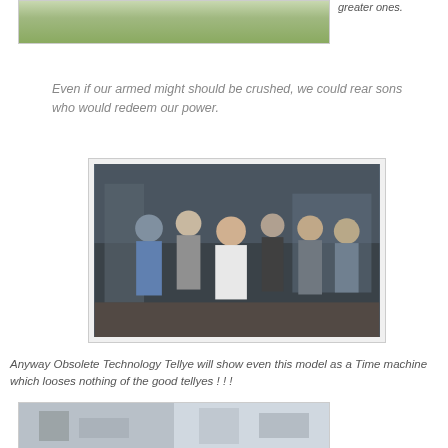[Figure (photo): Landscape photo showing green grass field]
greater ones.
Even if our armed might should be crushed, we could rear sons who would redeem our power.
[Figure (photo): Group photo of several people standing in what appears to be an industrial or workshop setting]
Anyway Obsolete Technology Tellye will show even this model as a Time machine which looses nothing of the good tellyes ! ! !
[Figure (photo): Workshop or industrial interior photo]